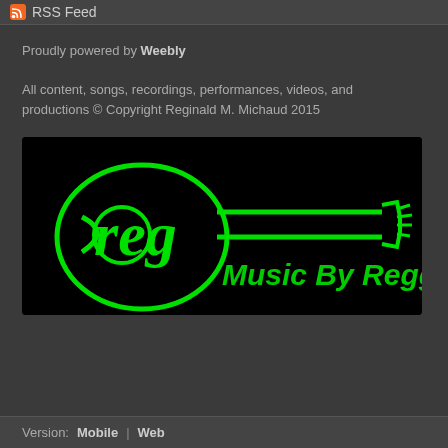RSS Feed
Proudly powered by Weebly
All content, songs, recordings, performances, videos, and productions © Copyright Reginald M. Michaud 2015
[Figure (logo): Music By Reggie logo — black background with a neon green guitar outline and cursive 'Reg' lettering inside the guitar body, with text 'Music By Reggie' in green italic font to the right]
Version: Mobile | Web